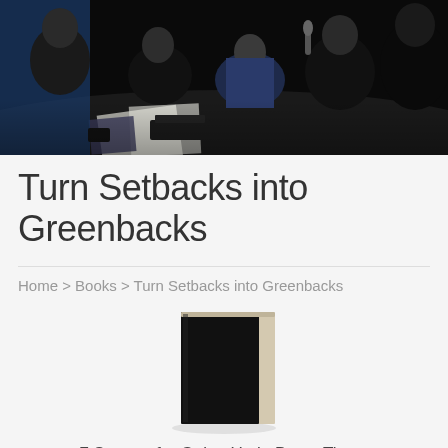[Figure (photo): Dark photo of several people sitting around a table in a studio or production setting, with papers, equipment and microphones visible. Dimly lit scene.]
Turn Setbacks into Greenbacks
Home > Books > Turn Setbacks into Greenbacks
[Figure (photo): A black book cover with cream/off-white spine standing upright, shown as a product photo against a light background.]
7 Secrets for Going Up in Down Times